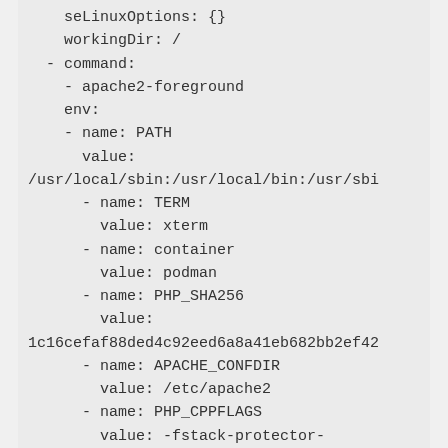seLinuxOptions: {}
    workingDir: /
  - command:
    - apache2-foreground
    env:
    - name: PATH
      value:
/usr/local/sbin:/usr/local/bin:/usr/sbi
      - name: TERM
        value: xterm
      - name: container
        value: podman
      - name: PHP_SHA256
        value:
1c16cefaf88ded4c92eed6a8a41eb682bb2ef42
      - name: APACHE_CONFDIR
        value: /etc/apache2
      - name: PHP_CPPFLAGS
        value: -fstack-protector-